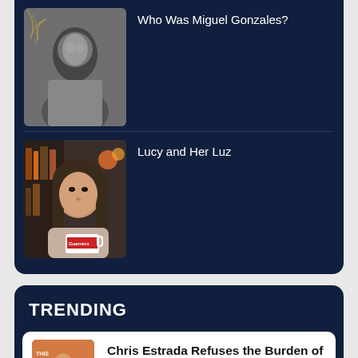[Figure (photo): Black and white yearbook-style portrait photo of a young man (Miguel Gonzales)]
Who Was Miguel Gonzales?
[Figure (photo): Photo of a young woman holding a white mug that reads 'Guerrero', with bookshelves in background]
Lucy and Her Luz
TRENDING
[Figure (photo): Photo of Chris Estrada standing in front of a colorful backdrop]
Chris Estrada Refuses the Burden of Representation in 'This Fool'